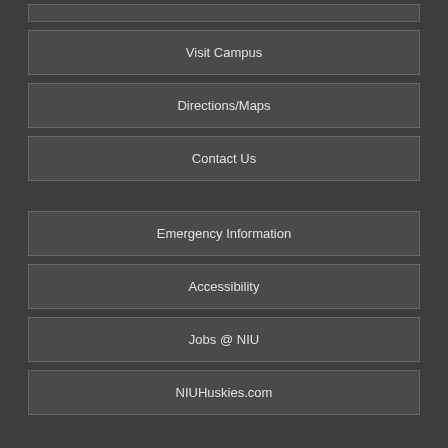Apply to NIU
Visit Campus
Directions/Maps
Contact Us
Emergency Information
Accessibility
Jobs @ NIU
NIUHuskies.com
©2020 Board of Trustees of Northern Illinois University. All rights reserved.